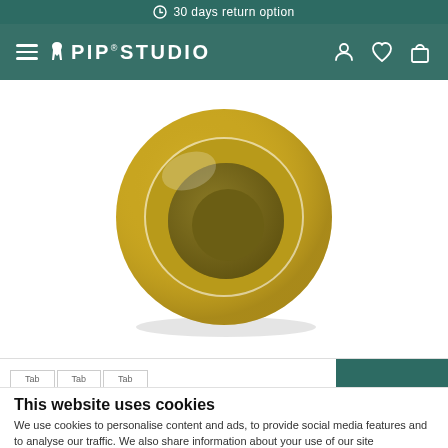30 days return option
[Figure (logo): Pip Studio logo with hamburger menu and navigation icons (user, heart, bag) on teal background]
[Figure (photo): Top-down view of a round yellow/mustard ceramic bowl or vase with dark olive-brown interior, photographed on white background]
This website uses cookies
We use cookies to personalise content and ads, to provide social media features and to analyse our traffic. We also share information about your use of our site...